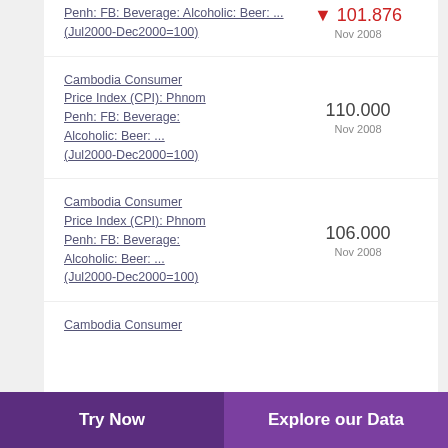Penh: FB: Beverage: Alcoholic: Beer: ... (Jul2000-Dec2000=100)
Cambodia Consumer Price Index (CPI): Phnom Penh: FB: Beverage: Alcoholic: Beer: ... (Jul2000-Dec2000=100)
Cambodia Consumer Price Index (CPI): Phnom Penh: FB: Beverage: Alcoholic: Beer: ... (Jul2000-Dec2000=100)
Cambodia Consumer
Try Now
Explore our Data